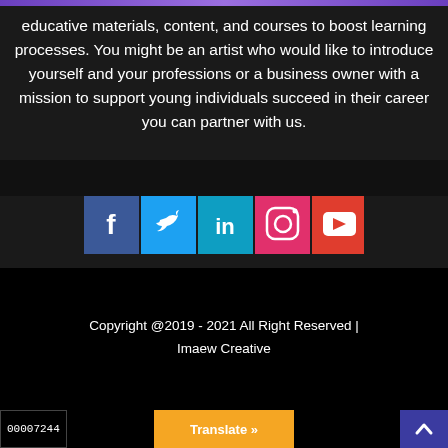educative materials, content, and courses to boost learning processes. You might be an artist who would like to introduce yourself and your professions or a business owner with a mission to support young individuals succeed in their career you can partner with us.
[Figure (infographic): Social media icons row: Facebook (blue), Twitter (light blue), LinkedIn (teal/blue), Instagram (pink), YouTube (red)]
Copyright @2019 - 2021 All Right Reserved | Imaew Creative
00007244   Translate »